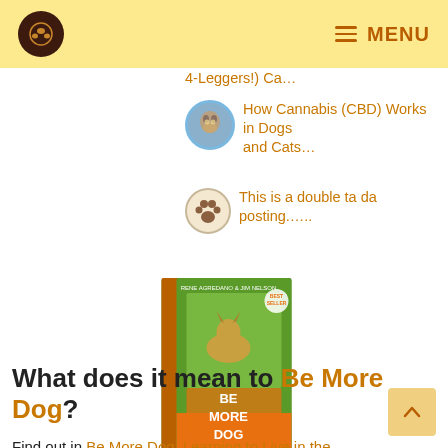MENU
4-Leggers!) Ca…
How Cannabis (CBD) Works in Dogs and Cats…
This is a double ta da posting.….
[Figure (photo): Book cover: Be More Dog by Rene Agredano & Jim Nelson]
What does it mean to Be More Dog?
Find out in Be More Dog: Learning to Live in the Now by Tripawds founders Rene and Jim. Learn life lessons learned from their Spirit Fore Officer, a S…